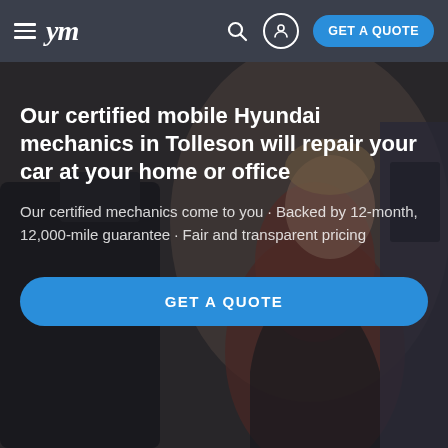ym — GET A QUOTE
[Figure (photo): Background photo of a smiling mechanic in a red and black jacket, with a car in the foreground, overlaid with a dark semi-transparent layer]
Our certified mobile Hyundai mechanics in Tolleson will repair your car at your home or office
Our certified mechanics come to you · Backed by 12-month, 12,000-mile guarantee · Fair and transparent pricing
GET A QUOTE